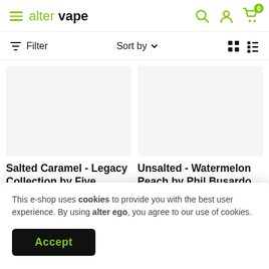alter vape
Filter   Sort by   (grid/list view icons)
Salted Caramel - Legacy Collection by Five Pawns - Flavor Shots
Unsalted - Watermelon Peach by Phil Busardo 0mg 50ml
This e-shop uses cookies to provide you with the best user experience. By using alter ego, you agree to our use of cookies.
Accept